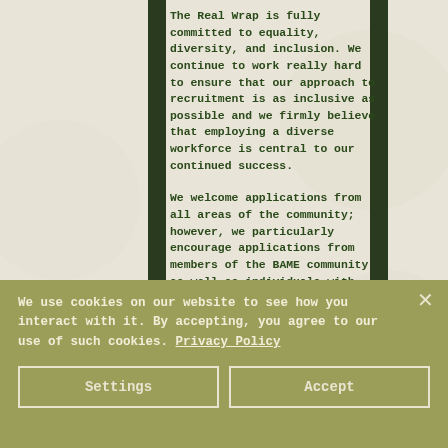The Real Wrap is fully committed to equality, diversity, and inclusion. We continue to work really hard to ensure that our approach to recruitment is as inclusive as possible and we firmly believe that employing a diverse workforce is central to our continued success.
We welcome applications from all areas of the community; however, we particularly encourage applications from members of the BAME community as well as individuals with disabilities, who are currently under-represented within our workforce.
Home / Our Jobs / Food Preparation Supervisor
We use cookies on our website to see how you interact with it. By accepting, you agree to our use of such cookies. Privacy Policy